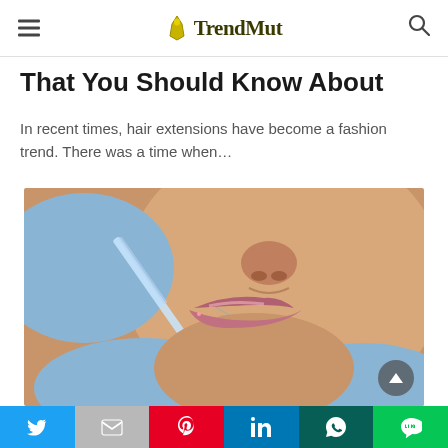TrendMut
That You Should Know About
In recent times, hair extensions have become a fashion trend. There was a time when…
[Figure (photo): Close-up of a person receiving a lip injection from a medical professional wearing blue latex gloves, with a syringe inserted at the lip area.]
Social share bar: Twitter, Gmail/Email, Pinterest, LinkedIn, WhatsApp, Line